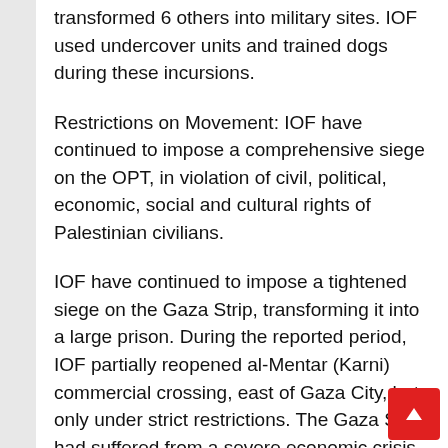transformed 6 others into military sites. IOF used undercover units and trained dogs during these incursions.
Restrictions on Movement: IOF have continued to impose a comprehensive siege on the OPT, in violation of civil, political, economic, social and cultural rights of Palestinian civilians.
IOF have continued to impose a tightened siege on the Gaza Strip, transforming it into a large prison. During the reported period, IOF partially reopened al-Mentar (Karni) commercial crossing, east of Gaza City, but only under strict restrictions. The Gaza Strip had suffered from a severe economic crisis for weeks prior to this temporary and partial reopening. On 28 March 2006, IOF imposed a total closure on the